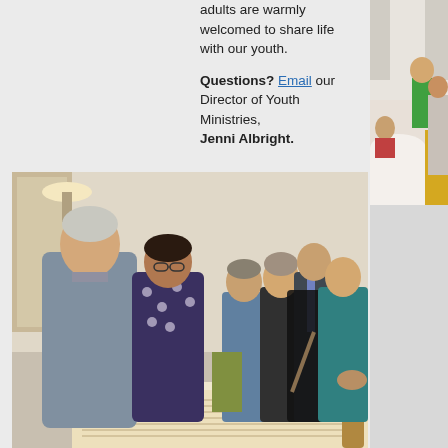adults are warmly welcomed to share life with our youth.

Questions? Email our Director of Youth Ministries,
Jenni Albright.
[Figure (photo): A group of adults gathered around a table examining what appears to be a Torah scroll. A man in a grey shirt is speaking to the group.]
[Figure (photo): Partial view of an indoor room with people, white tablecloths, and yellow accent colors visible on the right side of the page.]